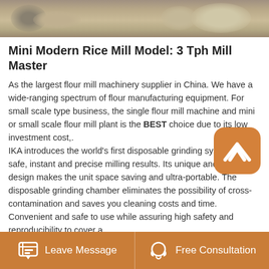[Figure (photo): Top portion of a photo showing flour/grain milling materials - powdery substances and rocks/stones on a surface]
Mini Modern Rice Mill Model: 3 Tph Mill Master
As the largest flour mill machinery supplier in China. We have a wide-ranging spectrum of flour manufacturing equipment. For small scale type business, the single flour mill machine and mini or small scale flour mill plant is the BEST choice due to its low investment cost,.
IKA introduces the world's first disposable grinding system for safe, instant and precise milling results. Its unique and compact design makes the unit space saving and ultra-portable. The disposable grinding chamber eliminates the possibility of cross-contamination and saves you cleaning costs and time. Convenient and safe to use while assuring high safety and reproducibility to cover a.
[Figure (logo): IKA brand badge - orange rounded square with white upward chevron/arrow symbol]
Leave Message   Free Consultation